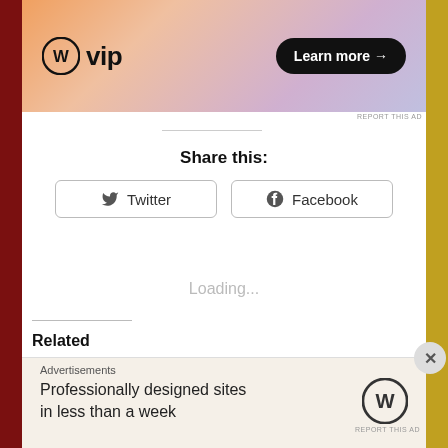[Figure (screenshot): WordPress VIP advertisement banner with orange-pink-purple gradient background. Shows WordPress circle logo, 'vip' text, and 'Learn more →' button in black pill shape.]
REPORT THIS AD
Share this:
Twitter
Facebook
Loading...
Related
Who We Respect
August 23, 2018
In "Thoughts"
Arizona Photos
October 1, 2019
In "Thoughts"
Journal – I don't belong
Advertisements
Professionally designed sites in less than a week
REPORT THIS AD